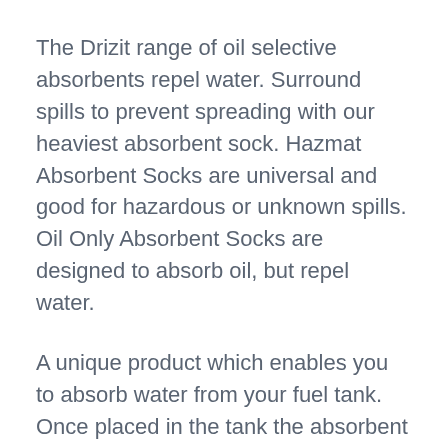The Drizit range of oil selective absorbents repel water. Surround spills to prevent spreading with our heaviest absorbent sock. Hazmat Absorbent Socks are universal and good for hazardous or unknown spills. Oil Only Absorbent Socks are designed to absorb oil, but repel water.
A unique product which enables you to absorb water from your fuel tank. Once placed in the tank the absorbent sock will begin to work straight away and within . Absorbent socks can be used to contain non-aggressive fluid leaks and prevent spills from . These WaterWicks absorb water and repels fuel and oil. Get the water out of your fuel tank without taking any fuel or oil with these absorbent WaterWicks.